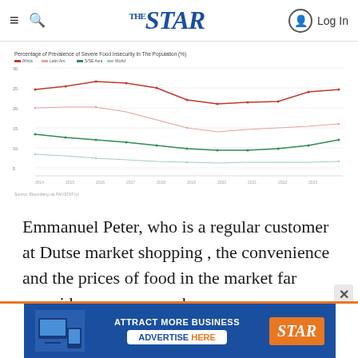THE STAR — Log In
[Figure (line-chart): Multi-series line chart showing prevalence of severe food insecurity over time. Four lines: two red/pink lines (higher values, ~10-30%) and two green/teal lines (lower values, ~3-10%). Data spans multiple years on x-axis.]
Emmanuel Peter, who is a regular customer at Dutse market shopping , the convenience and the prices of food in the market far override any concerns he ma